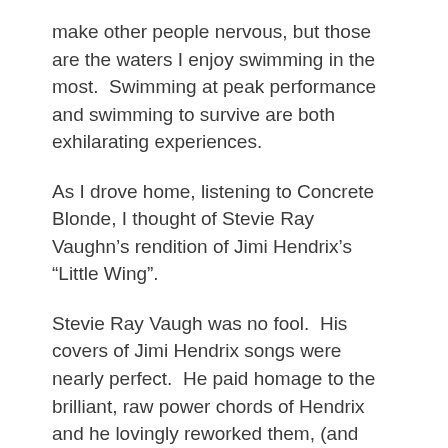make other people nervous, but those are the waters I enjoy swimming in the most.  Swimming at peak performance and swimming to survive are both exhilarating experiences.
As I drove home, listening to Concrete Blonde, I thought of Stevie Ray Vaughn's rendition of Jimi Hendrix's “Little Wing”.
Stevie Ray Vaugh was no fool.  His covers of Jimi Hendrix songs were nearly perfect.  He paid homage to the brilliant, raw power chords of Hendrix and he lovingly reworked them, (and then mastered them), and the end result was like a swinging hammer draped in satin and silk.  I have nothing but admiration for Jimi Hendrix and his contribution to the evolution of modern